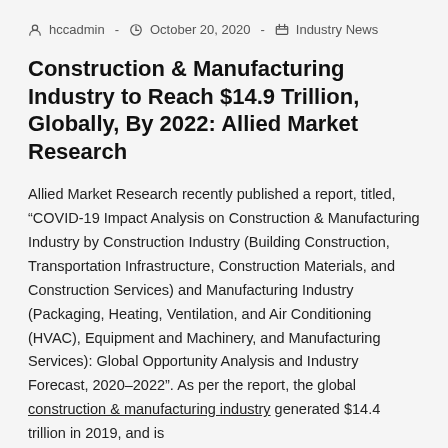hccadmin  -  October 20, 2020  -  Industry News
Construction & Manufacturing Industry to Reach $14.9 Trillion, Globally, By 2022: Allied Market Research
Allied Market Research recently published a report, titled, “COVID-19 Impact Analysis on Construction & Manufacturing Industry by Construction Industry (Building Construction, Transportation Infrastructure, Construction Materials, and Construction Services) and Manufacturing Industry (Packaging, Heating, Ventilation, and Air Conditioning (HVAC), Equipment and Machinery, and Manufacturing Services): Global Opportunity Analysis and Industry Forecast, 2020–2022”. As per the report, the global construction & manufacturing industry generated $14.4 trillion in 2019, and is